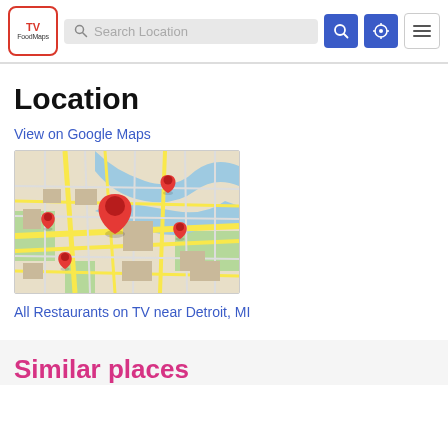TV FoodMaps — Search Location navigation bar
Location
View on Google Maps
[Figure (map): Google Maps view showing street map with red location pins near Detroit, MI area]
All Restaurants on TV near Detroit, MI
Similar places